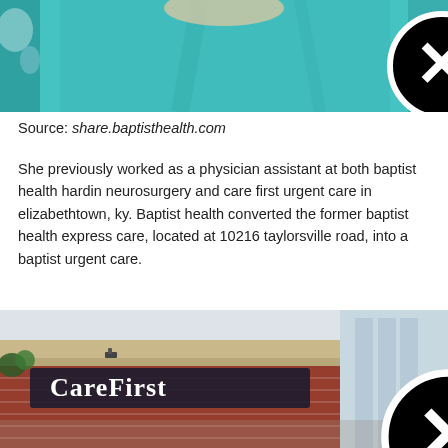[Figure (photo): Close-up of a person wearing teal/turquoise medical scrubs with a close button overlay]
Source: share.baptisthealth.com
She previously worked as a physician assistant at both baptist health hardin neurosurgery and care first urgent care in elizabethtown, ky. Baptist health converted the former baptist health express care, located at 10216 taylorsville road, into a baptist urgent care.
[Figure (photo): Exterior of a CareFirst urgent care building with brick facade and signage reading CareFirst, with a scroll-up button overlay]